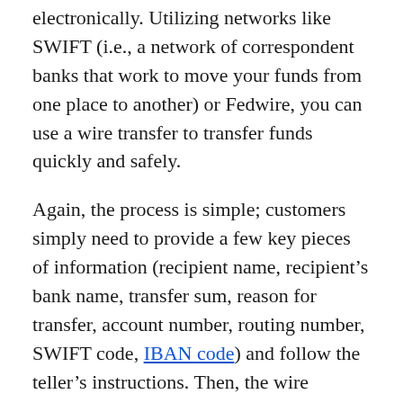electronically. Utilizing networks like SWIFT (i.e., a network of correspondent banks that work to move your funds from one place to another) or Fedwire, you can use a wire transfer to transfer funds quickly and safely.
Again, the process is simple; customers simply need to provide a few key pieces of information (recipient name, recipient's bank name, transfer sum, reason for transfer, account number, routing number, SWIFT code, IBAN code) and follow the teller's instructions. Then, the wire transfer will be completed. Because different countries have different requirements in terms of the information that you'll need to provide, it's best to check with your bank before going in to make a wire transfer.